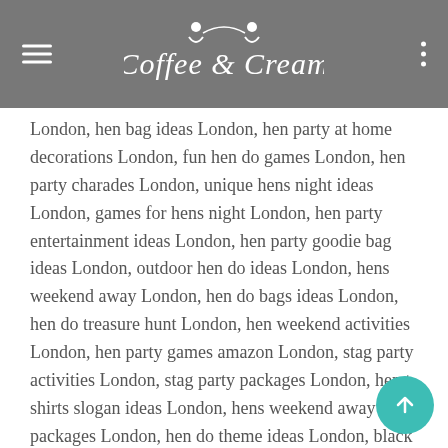Coffee & Cream
London, hen bag ideas London, hen party at home decorations London, fun hen do games London, hen party charades London, unique hens night ideas London, games for hens night London, hen party entertainment ideas London, hen party goodie bag ideas London, outdoor hen do ideas London, hens weekend away London, hen do bags ideas London, hen do treasure hunt London, hen weekend activities London, hen party games amazon London, stag party activities London, stag party packages London, hen t shirts slogan ideas London, hens weekend away packages London, hen do theme ideas London, black and white hen party theme London, good stag do ideas London, zoom hen do ideas London, virtual hen do game ideas London, hen party ideas abroad London, ideas for stag do